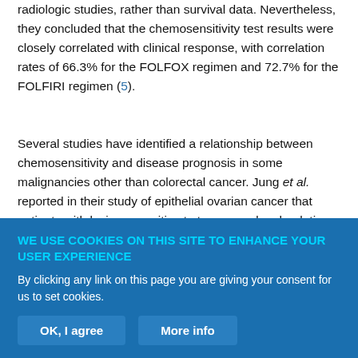radiologic studies, rather than survival data. Nevertheless, they concluded that the chemosensitivity test results were closely correlated with clinical response, with correlation rates of 66.3% for the FOLFOX regimen and 72.7% for the FOLFIRI regimen (5).
Several studies have identified a relationship between chemosensitivity and disease prognosis in some malignancies other than colorectal cancer. Jung et al. reported in their study of epithelial ovarian cancer that patients with lesions sensitive to taxane and carboplatin have a better progression-free survival (7). Similarly, Fujita et al. reported that for esophageal cancer patients who had preoperative concurrent chemoradiotherapy or surgery, chemo-
WE USE COOKIES ON THIS SITE TO ENHANCE YOUR USER EXPERIENCE
By clicking any link on this page you are giving your consent for us to set cookies.